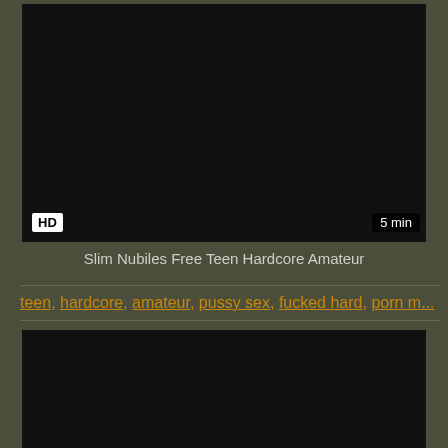[Figure (photo): Dark video thumbnail with HD badge at bottom left and '5 min' duration badge at bottom right]
Slim Nubiles Free Teen Hardcore Amateur
teen, hardcore, amateur, pussy sex, fucked hard, porn m...
[Figure (photo): Dark video thumbnail, bottom portion visible]